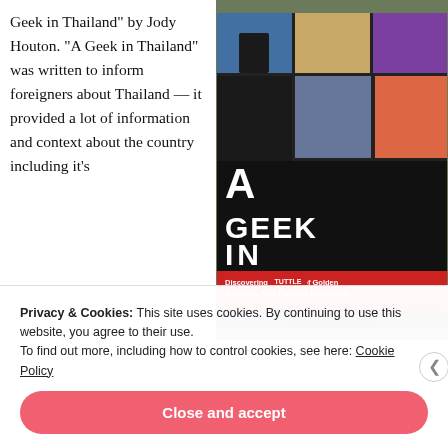Geek in Thailand" by Jody Houton. "A Geek in Thailand" was written to inform foreigners about Thailand — it provided a lot of information and context about the country including it's
[Figure (photo): Book cover of 'A Geek in Thailand: Discovering the Land of Golden Buddhas, Pad Thai and Kickboxing' by Jody Houton, published by Tuttle. The cover features a colorful collage of Thai cultural images. Photographed on a green textured background.]
Privacy & Cookies: This site uses cookies. By continuing to use this website, you agree to their use.
To find out more, including how to control cookies, see here: Cookie Policy
Close and accept